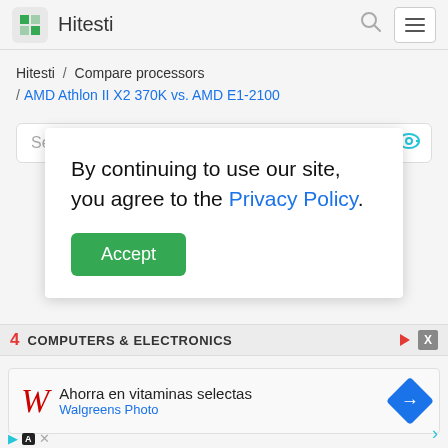Hitesti
Hitesti / Compare processors / AMD Athlon II X2 370K vs. AMD E1-2100
Search for
By continuing to use our site, you agree to the Privacy Policy.
Accept
4 COMPUTERS & ELECTRONICS
[Figure (screenshot): Walgreens ad: Ahorra en vitaminas selectas, Walgreens Photo]
Ahorra en vitaminas selectas
Walgreens Photo